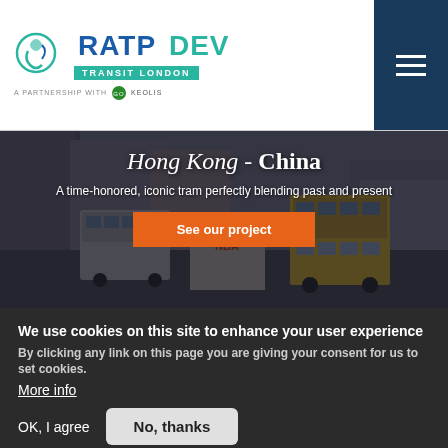[Figure (logo): RATP DEV Transit London logo with partnership badge]
[Figure (photo): Hong Kong street scene with double-decker buses and trams in a busy commercial district]
Hong Kong - China
A time-honored, iconic tram perfectly blending past and present
See our project
We use cookies on this site to enhance your user experience
By clicking any link on this page you are giving your consent for us to set cookies.
More info
OK, I agree
No, thanks